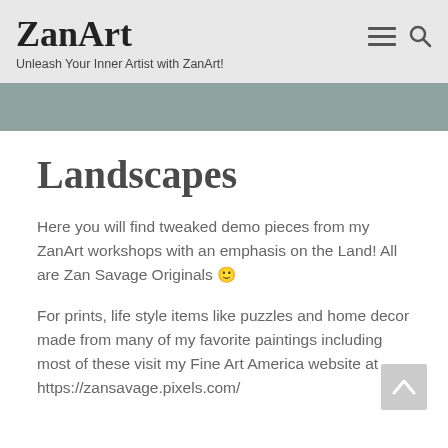ZanArt — Unleash Your Inner Artist with ZanArt!
Landscapes
Here you will find tweaked demo pieces from my ZanArt workshops with an emphasis on the Land! All are Zan Savage Originals 🙂
For prints, life style items like puzzles and home decor made from many of my favorite paintings including most of these visit my Fine Art America website at https://zansavage.pixels.com/